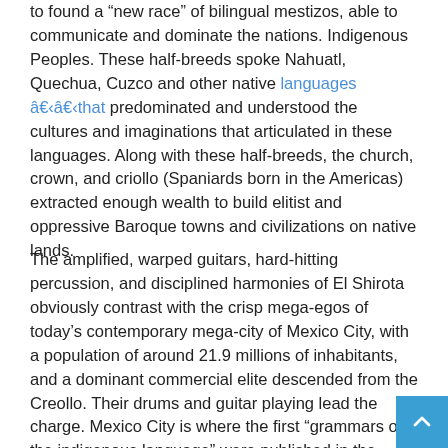to found a “new race” of bilingual mestizos, able to communicate and dominate the nations. Indigenous Peoples. These half-breeds spoke Nahuatl, Quechua, Cuzco and other native languages â€¹â€¹that predominated and understood the cultures and imaginations that articulated in these languages. Along with these half-breeds, the church, crown, and criollo (Spaniards born in the Americas) extracted enough wealth to build elitist and oppressive Baroque towns and civilizations on native lands.
The amplified, warped guitars, hard-hitting percussion, and disciplined harmonies of El Shirota obviously contrast with the crisp mega-egos of today’s contemporary mega-city of Mexico City, with a population of around 21.9 millions of inhabitants, and a dominant commercial elite descended from the Creollo. Their drums and guitar playing lead the charge. Mexico City is where the first “grammars of the indigenous language” were published in the “Americas”. Understanding the language of others has been used as a tool of oppression, as can be the case